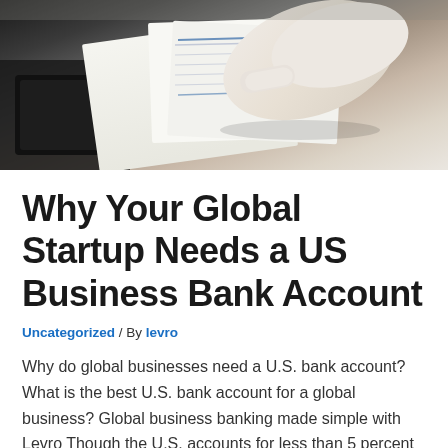[Figure (photo): Close-up photo of a person's hand wearing a white glove touching or pointing at financial documents and papers on a desk, with a dark tablet or device visible in the background.]
Why Your Global Startup Needs a US Business Bank Account
Uncategorized / By levro
Why do global businesses need a U.S. bank account? What is the best U.S. bank account for a global business? Global business banking made simple with Levro Though the U.S. accounts for less than 5 percent of the global population, its preeminent place in the world economy signals a huge opportunity for international startups. Whether ...